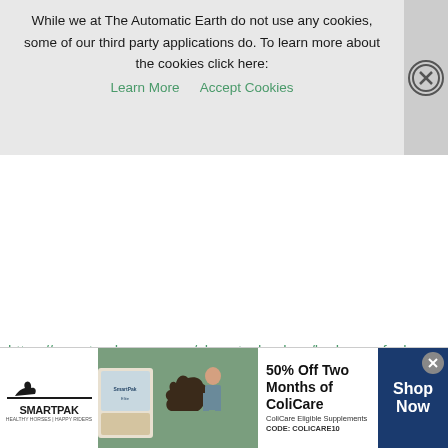While we at The Automatic Earth do not use any cookies, some of our third party applications do. To learn more about the cookies click here: Learn More  Accept Cookies
https://www.treehugger.com/clean-technology/hydrogen-fuel-could-be-made-any-plant.html
[Figure (other): SmartPak advertisement banner: 50% Off Two Months of ColiCare, ColiCare Eligible Supplements, CODE: COLICARE10, Shop Now button. Shows SmartPak logo with horse and rider image.]